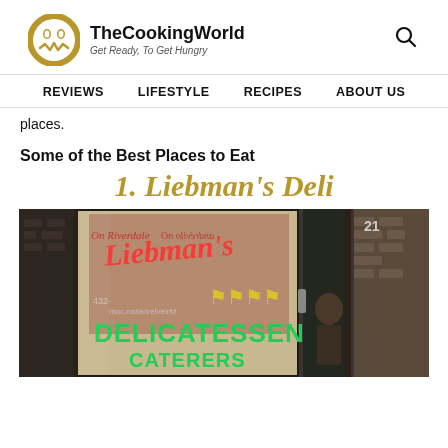[Figure (logo): TheCookingWorld logo — circular gold emblem with stylized chef face and W, site name 'TheCookingWorld', tagline 'Get Ready, To Get Hungry']
REVIEWS   LIFESTYLE   RECIPES   ABOUT US
places.
Some of the Best Places to Eat
1. Liebman's Deli
[Figure (photo): Exterior photo of Liebman's Delicatessen showing neon window sign reading 'Liebman's On Riverdale' with DELICATESSEN CATERERS text, phone number 432-___, and a person visible through the glass door on the right side, brick building exterior]